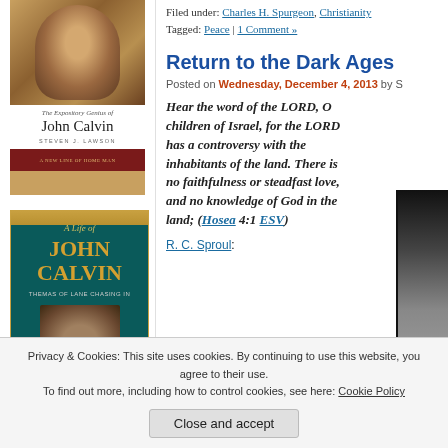[Figure (photo): Book cover: 'The Expository Genius of John Calvin' by Steven J. Lawson, with a painted portrait of John Calvin at top and dark red band at bottom]
[Figure (photo): Book cover: 'A Life of John Calvin' with teal/dark green background, gold title text, and a portrait of John Calvin]
Filed under: Charles H. Spurgeon, Christianity
Tagged: Peace | 1 Comment »
Return to the Dark Ages
Posted on Wednesday, December 4, 2013 by S
Hear the word of the LORD, O children of Israel, for the LORD has a controversy with the inhabitants of the land. There is no faithfulness or steadfast love, and no knowledge of God in the land; (Hosea 4:1 ESV)
R. C. Sproul:
Privacy & Cookies: This site uses cookies. By continuing to use this website, you agree to their use. To find out more, including how to control cookies, see here: Cookie Policy
Close and accept